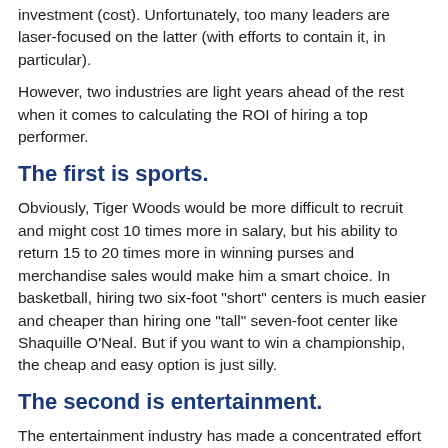investment (cost). Unfortunately, too many leaders are laser-focused on the latter (with efforts to contain it, in particular).
However, two industries are light years ahead of the rest when it comes to calculating the ROI of hiring a top performer.
The first is sports.
Obviously, Tiger Woods would be more difficult to recruit and might cost 10 times more in salary, but his ability to return 15 to 20 times more in winning purses and merchandise sales would make him a smart choice. In basketball, hiring two six-foot "short" centers is much easier and cheaper than hiring one "tall" seven-foot center like Shaquille O'Neal. But if you want to win a championship, the cheap and easy option is just silly.
The second is entertainment.
The entertainment industry has made a concentrated effort